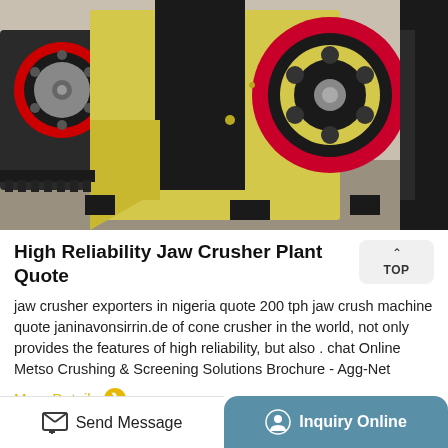[Figure (photo): Industrial jaw crusher machine with large yellow body and red/black flywheels, photographed in a factory setting]
High Reliability Jaw Crusher Plant Quote
jaw crusher exporters in nigeria quote 200 tph jaw crush machine quote janinavonsirrin.de of cone crusher in the world, not only provides the features of high reliability, but also . chat Online Metso Crushing & Screening Solutions Brochure - Agg-Net
More Details
Send Message
Inquiry Online